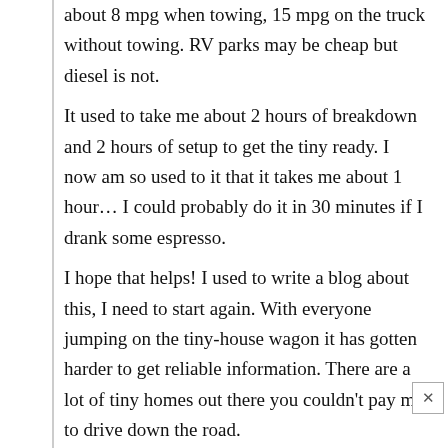about 8 mpg when towing, 15 mpg on the truck without towing. RV parks may be cheap but diesel is not.
It used to take me about 2 hours of breakdown and 2 hours of setup to get the tiny ready. I now am so used to it that it takes me about 1 hour… I could probably do it in 30 minutes if I drank some espresso.
I hope that helps! I used to write a blog about this, I need to start again. With everyone jumping on the tiny-house wagon it has gotten harder to get reliable information. There are a lot of tiny homes out there you couldn't pay me to drive down the road.
A few notes on this tiny house from a MOVING perspective:
-Those shelves need to be for decor only and it will